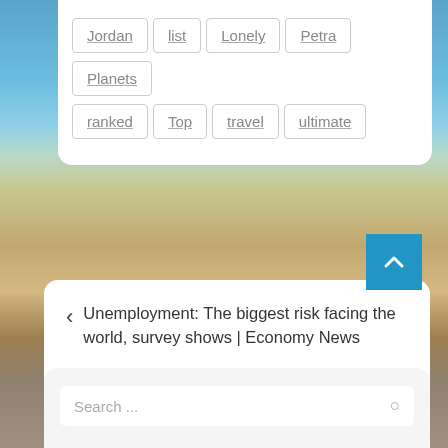Jordan
list
Lonely
Petra
Planets
ranked
Top
travel
ultimate
< Unemployment: The biggest risk facing the world, survey shows | Economy News
Mexico is open to Americans. Here’s what to know before booking a trip. >
Search ...